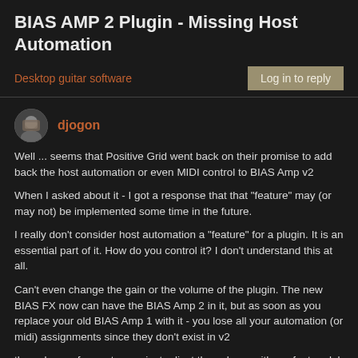BIAS AMP 2 Plugin - Missing Host Automation
Desktop guitar software
Log in to reply
djogon
Well ... seems that Positive Grid went back on their promise to add back the host automation or even MIDI control to BIAS Amp v2
When I asked about it - I got a response that that "feature" may (or may not) be implemented some time in the future.
I really don't consider host automation a "feature" for a plugin. It is an essential part of it. How do you control it? I don't understand this at all.
Can't even change the gain or the volume of the plugin. The new BIAS FX now can have the BIAS Amp 2 in it, but as soon as you replace your old BIAS Amp 1 with it - you lose all your automation (or midi) assignments since they don't exist in v2
the only way for me to now just adjust the volume with my foot pedal is to use a separate gain controller in Gig Performer and